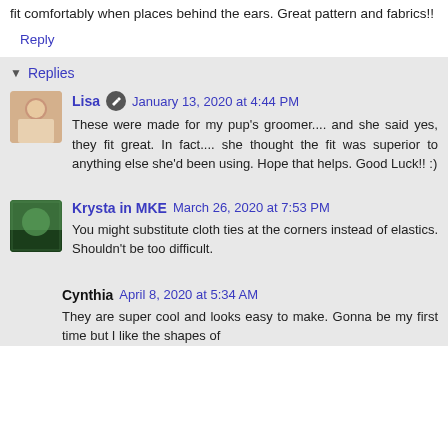fit comfortably when places behind the ears. Great pattern and fabrics!!
Reply
Replies
Lisa  January 13, 2020 at 4:44 PM
These were made for my pup's groomer.... and she said yes, they fit great. In fact.... she thought the fit was superior to anything else she'd been using. Hope that helps. Good Luck!! :)
Krysta in MKE  March 26, 2020 at 7:53 PM
You might substitute cloth ties at the corners instead of elastics. Shouldn't be too difficult.
Cynthia  April 8, 2020 at 5:34 AM
They are super cool and looks easy to make. Gonna be my first time but I like the shapes of